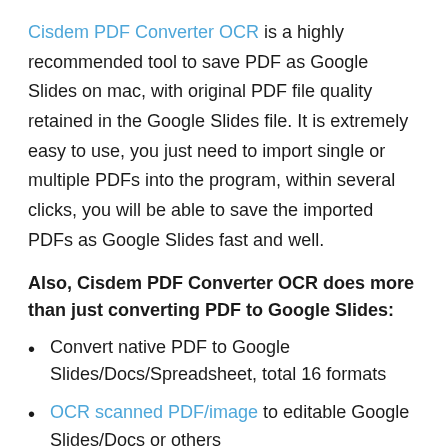Cisdem PDF Converter OCR is a highly recommended tool to save PDF as Google Slides on mac, with original PDF file quality retained in the Google Slides file. It is extremely easy to use, you just need to import single or multiple PDFs into the program, within several clicks, you will be able to save the imported PDFs as Google Slides fast and well.
Also, Cisdem PDF Converter OCR does more than just converting PDF to Google Slides:
Convert native PDF to Google Slides/Docs/Spreadsheet, total 16 formats
OCR scanned PDF/image to editable Google Slides/Docs or others